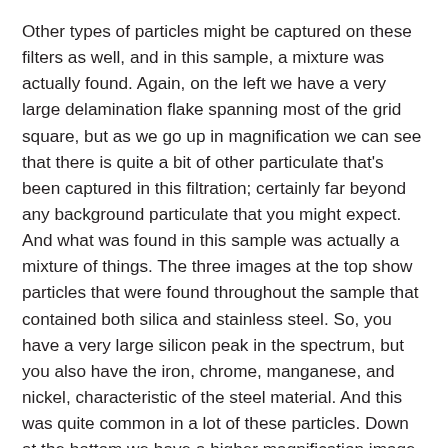Other types of particles might be captured on these filters as well, and in this sample, a mixture was actually found. Again, on the left we have a very large delamination flake spanning most of the grid square, but as we go up in magnification we can see that there is quite a bit of other particulate that's been captured in this filtration; certainly far beyond any background particulate that you might expect. And what was found in this sample was actually a mixture of things. The three images at the top show particles that were found throughout the sample that contained both silica and stainless steel. So, you have a very large silicon peak in the spectrum, but you also have the iron, chrome, manganese, and nickel, characteristic of the steel material. And this was quite common in a lot of these particles. Down at the bottom we have a higher magnification image of the edge of that big glass delamination flake, and you can see dark contrast features in that flake. In those spots, the elemental analysis showed them to be rich in phosphorus and rare earth